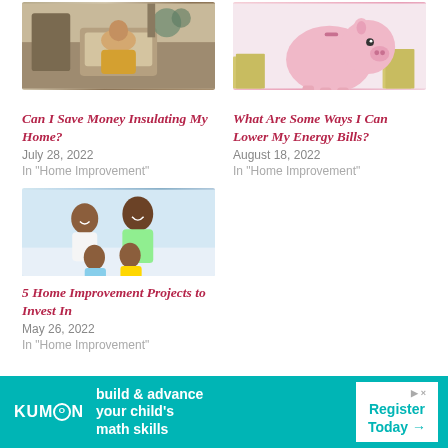[Figure (photo): Indoor scene with a person sitting on a couch surrounded by plants]
[Figure (photo): Pink piggy bank with stacks of coins/money in background]
Can I Save Money Insulating My Home?
July 28, 2022
In "Home Improvement"
What Are Some Ways I Can Lower My Energy Bills?
August 18, 2022
In "Home Improvement"
[Figure (photo): Happy family of four smiling together]
5 Home Improvement Projects to Invest In
May 26, 2022
In "Home Improvement"
[Figure (infographic): Kumon advertisement banner: build & advance your child's math skills. Register Today.]